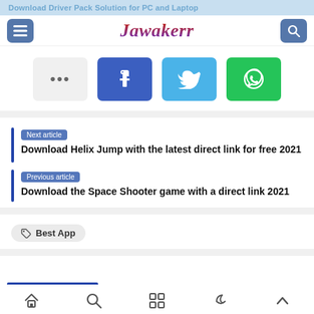Download Driver Pack Solution for PC and Laptop
Jawakerr
[Figure (screenshot): Social share buttons row: more (…), Facebook, Twitter, WhatsApp]
Next article
Download Helix Jump with the latest direct link for free 2021
Previous article
Download the Space Shooter game with a direct link 2021
Best App
Home Search Apps Night-mode Scroll-top navigation bar